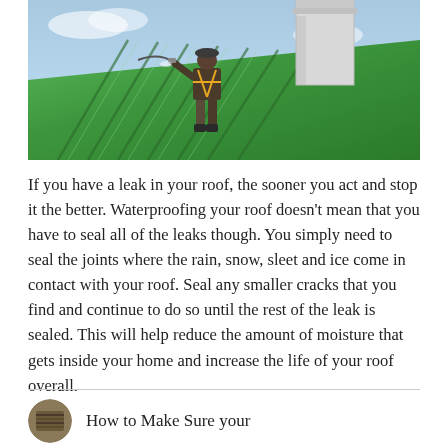[Figure (photo): A worker in safety harness spraying or applying waterproofing material on a green metal roof near a white chimney, with blue sky in background.]
If you have a leak in your roof, the sooner you act and stop it the better. Waterproofing your roof doesn't mean that you have to seal all of the leaks though. You simply need to seal the joints where the rain, snow, sleet and ice come in contact with your roof. Seal any smaller cracks that you find and continue to do so until the rest of the leak is sealed. This will help reduce the amount of moisture that gets inside your home and increase the life of your roof overall.
[Figure (photo): Small circular thumbnail image of a roof or roofing material.]
How to Make Sure your